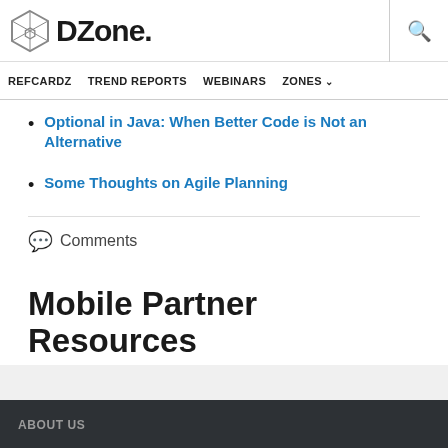DZone.
REFCARDZ  TREND REPORTS  WEBINARS  ZONES
Optional in Java: When Better Code is Not an Alternative
Some Thoughts on Agile Planning
Comments
Mobile Partner Resources
ABOUT US